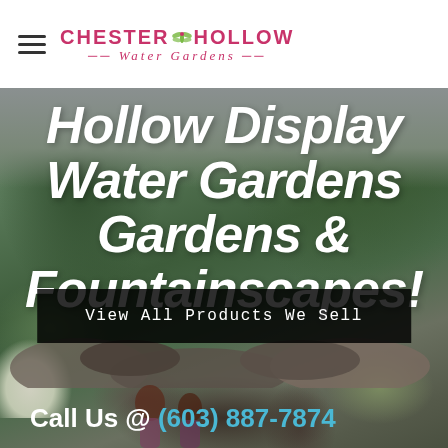[Figure (logo): Chester Hollow Water Gardens logo with dragonfly icon, company name in pink/magenta uppercase letters with italic subtitle]
[Figure (photo): Landscape photo showing a water garden and fountainscape with green trees, rocks, boulders, white flowering shrubs, and two children visible at the bottom. Grey/overcast sky in background.]
Hollow Display Water Gardens Gardens & Fountainscapes!
View All Products We Sell
Call Us @ (603) 887-7874